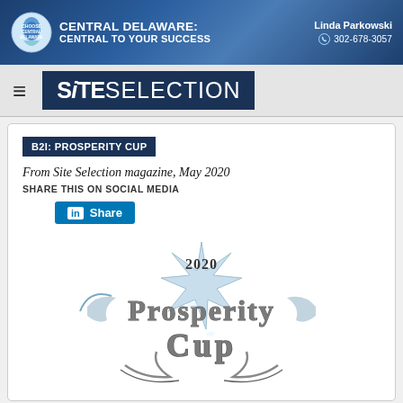CENTRAL DELAWARE: CENTRAL TO YOUR SUCCESS | Linda Parkowski | 302-678-3057
[Figure (logo): Site Selection magazine logo with hamburger menu icon]
B2I: PROSPERITY CUP
From Site Selection magazine, May 2020
SHARE THIS ON SOCIAL MEDIA
[Figure (other): LinkedIn Share button]
[Figure (logo): 2020 Prosperity Cup ornate logo with trophy/star graphic in silver and blue tones]